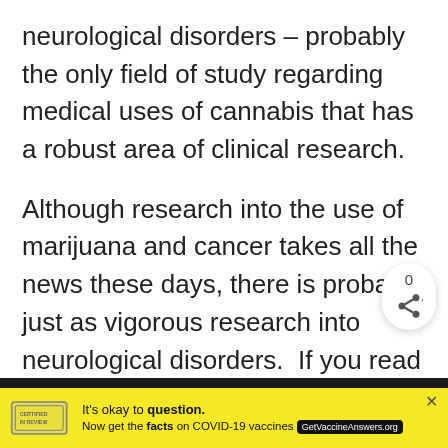neurological disorders – probably the only field of study regarding medical uses of cannabis that has a robust area of clinical research.
Although research into the use of marijuana and cancer takes all the news these days, there is probably just as vigorous research into neurological disorders. If you read the story regarding CNN's chief medical
[Figure (other): Share button widget showing count 0 and a share icon]
[Figure (screenshot): Advertisement banner: yellow background with a stamp logo reading 'It's okay to question. Now get the facts on COVID-19 vaccines GetVaccineAnswers.org']